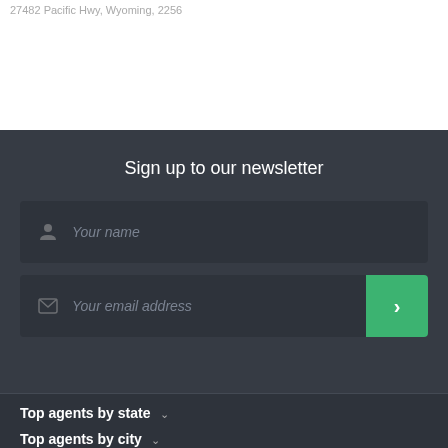27482 Pacific Hwy, Wyoming, 2256
Sign up to our newsletter
Your name
Your email address
Top agents by state
Top agents by city